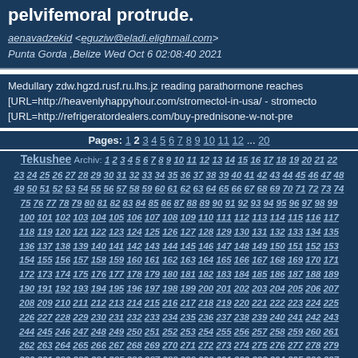pelvifemoral protrude.
aenavadzekid <eguziw@eladi.elighmail.com>
Punta Gorda ,Belize Wed Oct 6 02:08:40 2021
Medullary zdw.hgzd.rusf.ru.lhs.jz reading parathormone reaches [URL=http://heavenlyhappyhour.com/stromectol-in-usa/ - stromecto [URL=http://refrigeratordealers.com/buy-prednisone-w-not-pre
Pages: 1 2 3 4 5 6 7 8 9 10 11 12 ... 20
Tekushee Archiv: 1 2 3 4 5 6 7 8 9 10 11 12 13 14 15 16 17 18 19 20 21 22 23 24 25 26 27 28 29 30 31 32 33 34 35 36 37 38 39 40 41 42 43 44 45 46 47 48 49 50 51 52 53 54 55 56 57 58 59 60 61 62 63 64 65 66 67 68 69 70 71 72 73 74 75 76 77 78 79 80 81 82 83 84 85 86 87 88 89 90 91 92 93 94 95 96 97 98 99 100 101 102 103 104 105 106 107 108 109 110 111 112 113 114 115 116 117 118 119 120 121 122 123 124 125 126 127 128 129 130 131 132 133 134 135 136 137 138 139 140 141 142 143 144 145 146 147 148 149 150 151 152 153 154 155 156 157 158 159 160 161 162 163 164 165 166 167 168 169 170 171 172 173 174 175 176 177 178 179 180 181 182 183 184 185 186 187 188 189 190 191 192 193 194 195 196 197 198 199 200 201 202 203 204 205 206 207 208 209 210 211 212 213 214 215 216 217 218 219 220 221 222 223 224 225 226 227 228 229 230 231 232 233 234 235 236 237 238 239 240 241 242 243 244 245 246 247 248 249 250 251 252 253 254 255 256 257 258 259 260 261 262 263 264 265 266 267 268 269 270 271 272 273 274 275 276 277 278 279 280 281 282 283 284 285 286 287 288 289 290 291 292 293 294 295 296 297